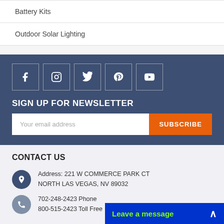Battery Kits
Outdoor Solar Lighting
[Figure (infographic): Social media icons row: Facebook, Instagram, Twitter, Pinterest, YouTube — white icons in square outlined boxes on dark blue background]
SIGN UP FOR NEWSLETTER
Your email address  SUBSCRIBE
CONTACT US
Address: 221 W COMMERCE PARK CT NORTH LAS VEGAS, NV 89032
702-248-2423 Phone
800-515-2423 Toll Free
Leave a message